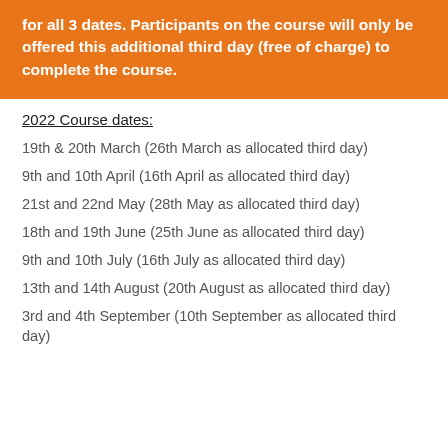for all 3 dates. Participants on the course will only be offered this additional third day (free of charge) to complete the course.
2022 Course dates:
19th & 20th March (26th March as allocated third day)
9th and 10th April (16th April as allocated third day)
21st and 22nd May (28th May as allocated third day)
18th and 19th June (25th June as allocated third day)
9th and 10th July (16th July as allocated third day)
13th and 14th August (20th August as allocated third day)
3rd and 4th September (10th September as allocated third day)